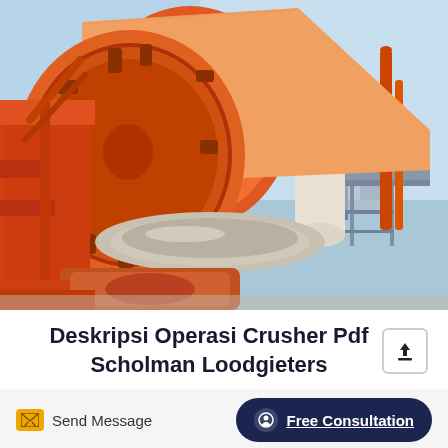[Figure (photo): Close-up photograph of a large orange industrial rotary kiln or drum crusher at an industrial facility. The massive orange cylindrical drum dominates the frame, with orange steel support structures, rollers, and drive mechanisms visible. Background shows additional industrial equipment and a light blue sky.]
Deskripsi Operasi Crusher Pdf Scholman Loodgieters
Send Message
Free Consultation